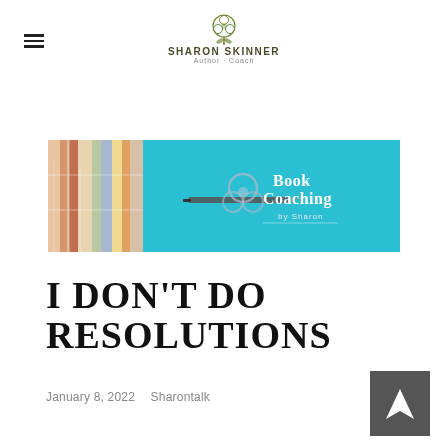Sharon Skinner Author · Coach
[Figure (logo): Sharon Skinner Author Coach logo with Celtic knot emblem at top center]
[Figure (illustration): Book Coaching by Sharon banner image: left side shows stacked colorful books spine-on, right side is bright blue/cyan with 'Book Coaching by Sharon' text and a pen/Celtic knot graphic]
I DON'T DO RESOLUTIONS
January 8, 2022    Sharontalk